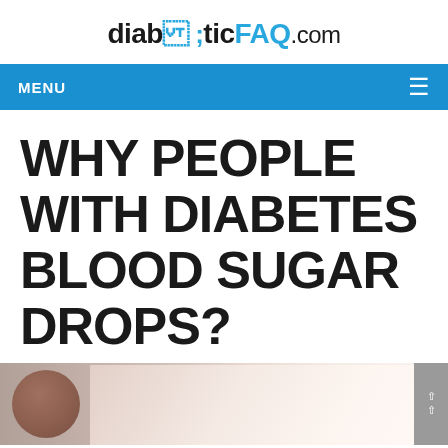diabeticFAQ.com
MENU
WHY PEOPLE WITH DIABETES BLOOD SUGAR DROPS?
[Figure (photo): Photo of a person with diabetes, partially visible at the bottom of the page]